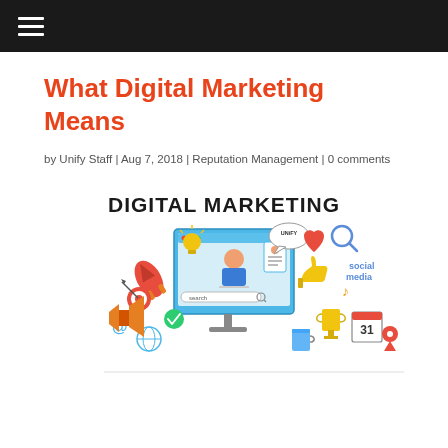≡
What Digital Marketing Means
by Unify Staff | Aug 7, 2018 | Reputation Management | 0 comments
[Figure (illustration): Digital Marketing illustration showing a computer monitor with a person on screen, rocket, lightbulb, social media icons, heart, magnifying glass, trophy, calendar showing 31, search bar, and various marketing icons. Text reads DIGITAL MARKETING at top.]